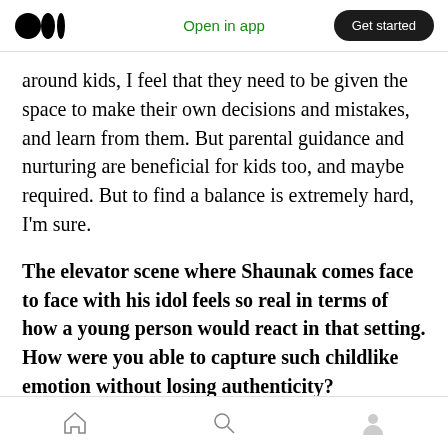Medium logo | Open in app | Get started
around kids, I feel that they need to be given the space to make their own decisions and mistakes, and learn from them. But parental guidance and nurturing are beneficial for kids too, and maybe required. But to find a balance is extremely hard, I'm sure.
The elevator scene where Shaunak comes face to face with his idol feels so real in terms of how a young person would react in that setting. How were you able to capture such childlike emotion without losing authenticity?
Home | Search | Profile